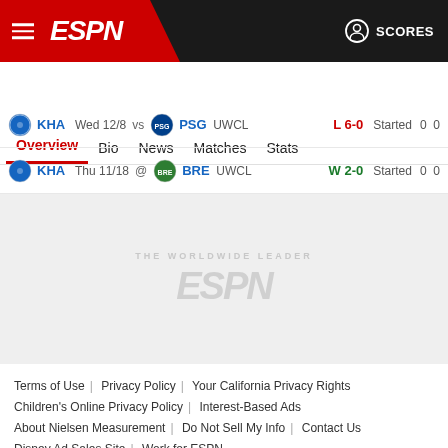ESPN — SCORES
Overview | Bio | News | Matches | Stats
| Team | Date |  | Opp | Competition | Result | Status | G | A |
| --- | --- | --- | --- | --- | --- | --- | --- | --- |
| KHA | Wed 12/8 | vs | PSG | UWCL | L 6-0 | Started | 0 | 0 |
| KHA | Thu 11/18 | @ | BRE | UWCL | W 2-0 | Started | 0 | 0 |
[Figure (logo): ESPN watermark logo in light gray]
Terms of Use | Privacy Policy | Your California Privacy Rights | Children's Online Privacy Policy | Interest-Based Ads | About Nielsen Measurement | Do Not Sell My Info | Contact Us | Disney Ad Sales Site | Work for ESPN
Copyright: © ESPN Enterprises, Inc. All rights reserved.